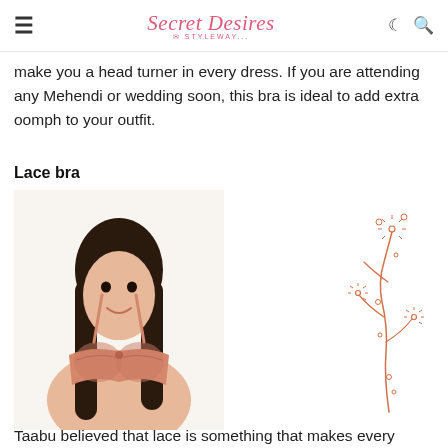Secret Desires by Styleway
make you a head turner in every dress. If you are attending any Mehendi or wedding soon, this bra is ideal to add extra oomph to your outfit.
Lace bra
[Figure (photo): Young woman with long dark hair smiling, wearing a peach/salmon colored lace bra with thin straps and lace detailing on cups, shown from waist up against white background]
[Figure (illustration): Decorative line illustration of flowers and stems in salmon/coral color, featuring daisy-like flowers with small round buds on thin curving stems]
Taabu believed that lace is something that makes every